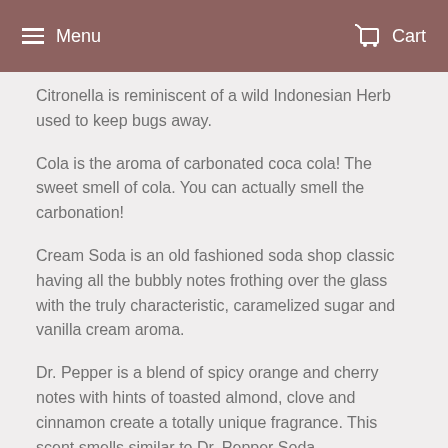Menu  Cart
Citronella is reminiscent of a wild Indonesian Herb used to keep bugs away.
Cola is the aroma of carbonated coca cola! The sweet smell of cola. You can actually smell the carbonation!
Cream Soda is an old fashioned soda shop classic having all the bubbly notes frothing over the glass with the truly characteristic, caramelized sugar and vanilla cream aroma.
Dr. Pepper is a blend of spicy orange and cherry notes with hints of toasted almond, clove and cinnamon create a totally unique fragrance. This scent smells similar to Dr. Pepper Soda.
Grape Soda is the aroma of Kyoho grapes intermingled with fresh peaches, pineapple, raspberries, and strawberries on a dry down of vanilla.